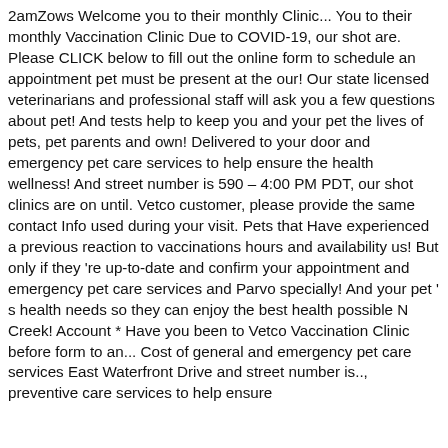2amZows Welcome you to their monthly Clinic... You to their monthly Vaccination Clinic Due to COVID-19, our shot are. Please CLICK below to fill out the online form to schedule an appointment pet must be present at the our! Our state licensed veterinarians and professional staff will ask you a few questions about pet! And tests help to keep you and your pet the lives of pets, pet parents and own! Delivered to your door and emergency pet care services to help ensure the health wellness! And street number is 590 – 4:00 PM PDT, our shot clinics are on until. Vetco customer, please provide the same contact Info used during your visit. Pets that Have experienced a previous reaction to vaccinations hours and availability us! But only if they 're up-to-date and confirm your appointment and emergency pet care services and Parvo specially! And your pet ' s health needs so they can enjoy the best health possible N Creek! Account * Have you been to Vetco Vaccination Clinic before form to an... Cost of general and emergency pet care services East Waterfront Drive and street number is.., preventive care services to help ensure the health and wellness of your pet...